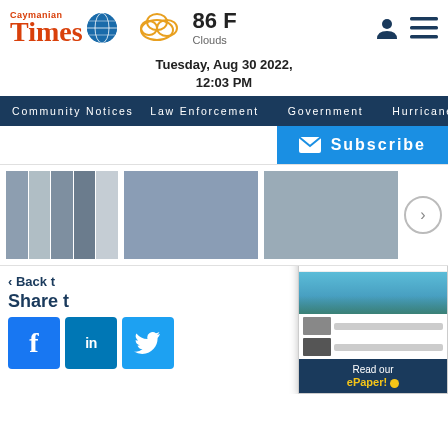Caymanian Times — 86 F Clouds — Tuesday, Aug 30 2022, 12:03 PM
Community Notices   Law Enforcement   Government   Hurricane Watch   CO
Subscribe
[Figure (photo): Carousel of three photo groups: multiple politicians headshots, a man in suit speaking at a podium with Brazilian flag, emergency responders loading a patient into an ambulance]
‹ Back t…
Share t…
[Figure (screenshot): Caymanian Times ePaper popup showing logo, aerial coastal photo, article thumbnails, and 'Read our ePaper!' call to action]